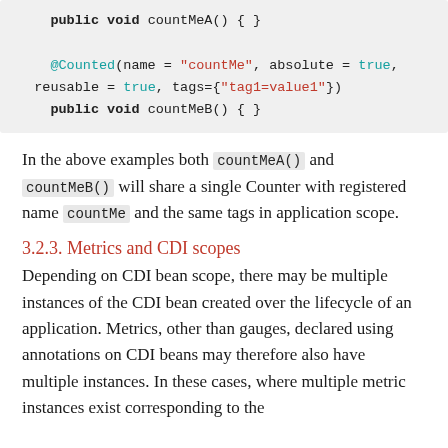[Figure (other): Code block showing Java method countMeA and countMeB with @Counted annotation]
In the above examples both countMeA() and countMeB() will share a single Counter with registered name countMe and the same tags in application scope.
3.2.3. Metrics and CDI scopes
Depending on CDI bean scope, there may be multiple instances of the CDI bean created over the lifecycle of an application. Metrics, other than gauges, declared using annotations on CDI beans may therefore also have multiple instances. In these cases, where multiple metric instances exist corresponding to the